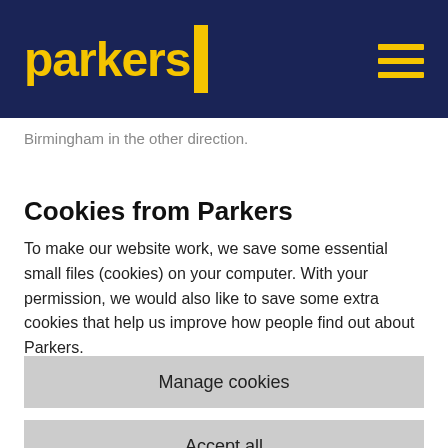parkers
Birmingham in the other direction.
Cookies from Parkers
To make our website work, we save some essential small files (cookies) on your computer. With your permission, we would also like to save some extra cookies that help us improve how people find out about Parkers.
Read more about our cookies
Manage cookies
Accept all